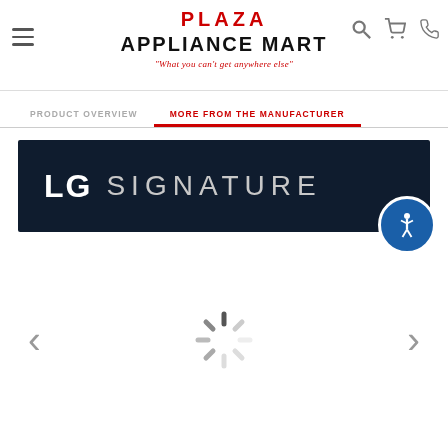[Figure (logo): Plaza Appliance Mart logo with tagline 'What you can't get anywhere else']
PRODUCT OVERVIEW | MORE FROM THE MANUFACTURER
[Figure (logo): LG SIGNATURE brand banner on dark navy background]
[Figure (other): Loading spinner (carousel content loading) with left and right navigation arrows]